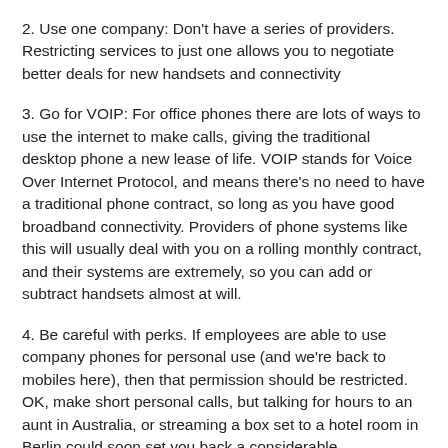2. Use one company: Don't have a series of providers. Restricting services to just one allows you to negotiate better deals for new handsets and connectivity
3. Go for VOIP: For office phones there are lots of ways to use the internet to make calls, giving the traditional desktop phone a new lease of life. VOIP stands for Voice Over Internet Protocol, and means there's no need to have a traditional phone contract, so long as you have good broadband connectivity. Providers of phone systems like this will usually deal with you on a rolling monthly contract, and their systems are extremely, so you can add or subtract handsets almost at will.
4. Be careful with perks. If employees are able to use company phones for personal use (and we're back to mobiles here), then that permission should be restricted. OK, make short personal calls, but talking for hours to an aunt in Australia, or streaming a box set to a hotel room in Berlin could soon set you back a considerable –